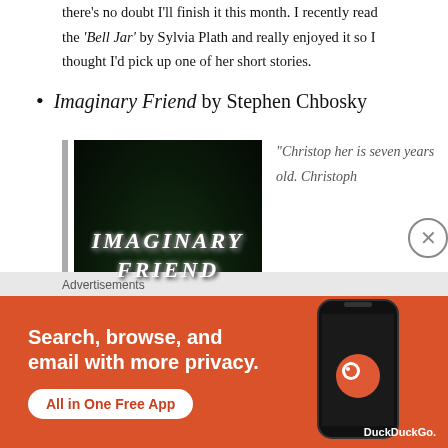there's no doubt I'll finish it this month. I recently read the 'Bell Jar' by Sylvia Plath and really enjoyed it so I thought I'd pick up one of her short stories.
Imaginary Friend by Stephen Chbosky
[Figure (photo): Book cover of 'Imaginary Friend' by Stephen Chbosky — black background with white hand-drawn-style lettering spelling out 'IMAGINARY FRIEND' with dark green grass/forest texture visible at the bottom.]
“Christop her is seven years old. Christoph
Advertisements
[Figure (infographic): DuckDuckGo advertisement banner: orange/red background, white bold text reading 'Search, browse, and email with more privacy.' with a white pill button 'All in One Free App' and a phone mockup with DuckDuckGo logo on the right side.]